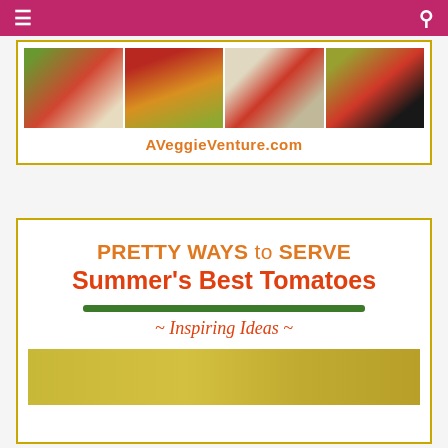Navigation bar with hamburger menu and search icon
[Figure (photo): AVeggieVenture.com website banner with collage of food photos (soup bowls, casserole dishes, pizza) and site name in orange]
[Figure (infographic): Promotional graphic for 'PRETTY WAYS to SERVE Summer's Best Tomatoes ~ Inspiring Ideas ~' with orange and red text on white background with green rule and food photo at bottom]